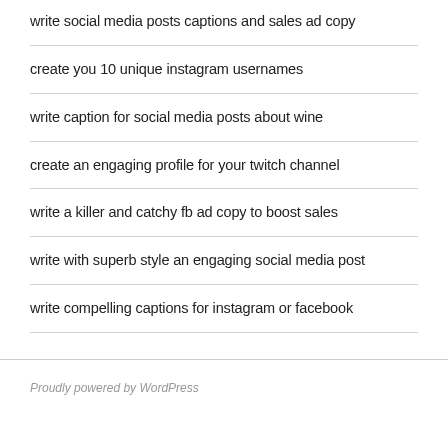write social media posts captions and sales ad copy
create you 10 unique instagram usernames
write caption for social media posts about wine
create an engaging profile for your twitch channel
write a killer and catchy fb ad copy to boost sales
write with superb style an engaging social media post
write compelling captions for instagram or facebook
Proudly powered by WordPress